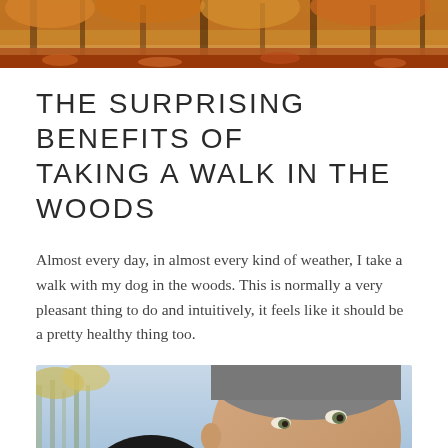[Figure (photo): Autumn forest scene with orange and red fallen leaves covering the forest floor, trees in background]
THE SURPRISING BENEFITS OF TAKING A WALK IN THE WOODS
Almost every day, in almost every kind of weather, I take a walk with my dog in the woods. This is normally a very pleasant thing to do and intuitively, it feels like it should be a pretty healthy thing too.
[Figure (photo): Selfie photo of a smiling person with short grey hair outdoors in a forest, with a black and white dog pressed close beside them, autumn trees visible in background]